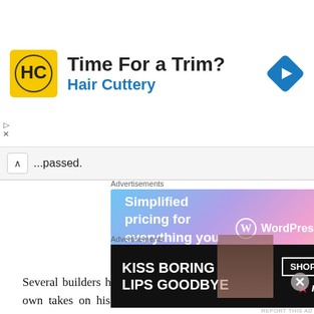[Figure (screenshot): Hair Cuttery advertisement banner with yellow HC logo, 'Time For a Trim?' heading, 'Hair Cuttery' subtitle in blue, and blue navigation arrow diamond icon on right]
...passed.
Advertisements
[Figure (screenshot): WordPress.com advertisement: gradient background (blue to pink), text 'Simplified pricing for everything you need.' with WordPress.com logo on right]
Several builders have paid tribute to Ingmar with their own takes on his spectacular models, and apparently Ingmar was very pleased to see the progress on Dennis' build earlier in the year, particularly liking the orange colour chosen. The Elves rather like it too (orange
Advertisements
[Figure (screenshot): Macy's advertisement: dark background with 'KISS BORING LIPS GOODBYE' text, woman's face with red lips, 'SHOP NOW' button and Macy's logo with red star]